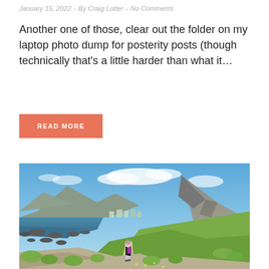January 15, 2022  -  By Craig Lotter  -  No Comments
Another one of those, clear out the folder on my laptop photo dump for posterity posts (though technically that's a little harder than what it…
READ MORE
[Figure (photo): A woman walking along a coastal path with dramatic rocky mountains in the background, blue sky with clouds, green coastal vegetation, and water with rocks visible to the left.]